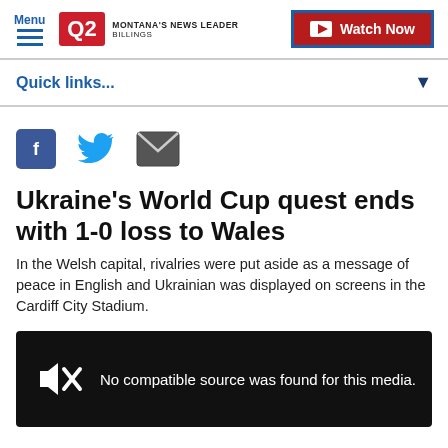Menu | Q2 Montana's News Leader Billings | Watch Now
Quick links...
[Figure (other): Social sharing icons: Facebook, Twitter, Email]
Ukraine's World Cup quest ends with 1-0 loss to Wales
In the Welsh capital, rivalries were put aside as a message of peace in English and Ukrainian was displayed on screens in the Cardiff City Stadium.
[Figure (screenshot): Video player showing 'No compatible source was found for this media.' with muted speaker icon on black background]